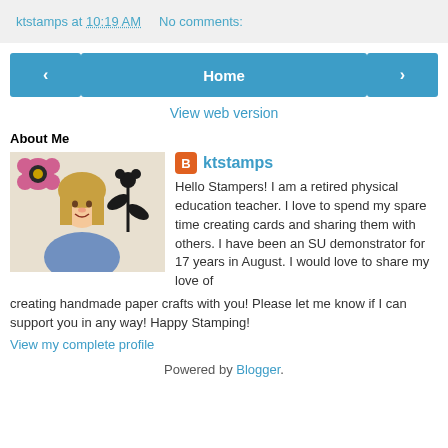ktstamps at 10:19 AM    No comments:
‹  Home  ›
View web version
About Me
[Figure (photo): Profile photo of ktstamps - a woman with blonde hair in front of a wall with flower decorations]
ktstamps - Hello Stampers! I am a retired physical education teacher. I love to spend my spare time creating cards and sharing them with others. I have been an SU demonstrator for 17 years in August. I would love to share my love of creating handmade paper crafts with you! Please let me know if I can support you in any way! Happy Stamping!
View my complete profile
Powered by Blogger.